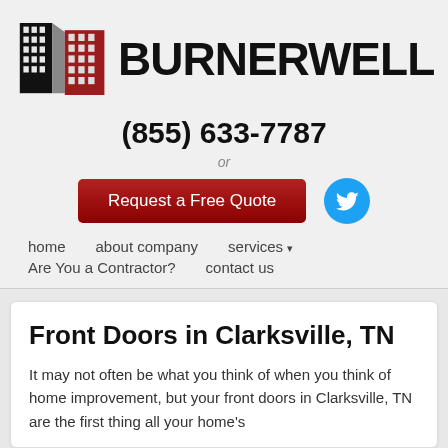[Figure (logo): Burnerwell logo: two building silhouettes (black and red) side by side, with the text BURNERWELL in bold black]
(855) 633-7787
or
[Figure (other): Red 'Request a Free Quote' button and a Twitter bird icon in blue]
home
about company
services ▾
Are You a Contractor?
contact us
Front Doors in Clarksville, TN
It may not often be what you think of when you think of home improvement, but your front doors inClarksville, TN are the first thing all your home's